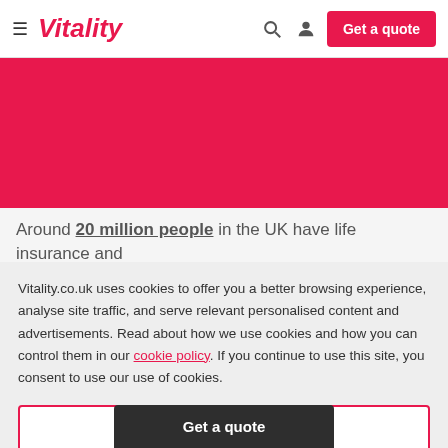≡ Vitality | Get a quote
[Figure (other): Pink/magenta full-width banner image area]
Around 20 million people in the UK have life insurance and
Vitality.co.uk uses cookies to offer you a better browsing experience, analyse site traffic, and serve relevant personalised content and advertisements. Read about how we use cookies and how you can control them in our cookie policy. If you continue to use this site, you consent to use our use of cookies.
Accept cookies
Get a quote